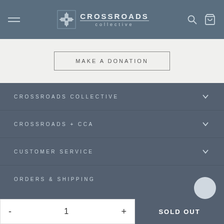CROSSROADS collective
MAKE A DONATION
CROSSROADS COLLECTIVE
CROSSROADS + CCA
CUSTOMER SERVICE
ORDERS & SHIPPING
© 2022 Crossroads Collective
- 1 + SOLD OUT